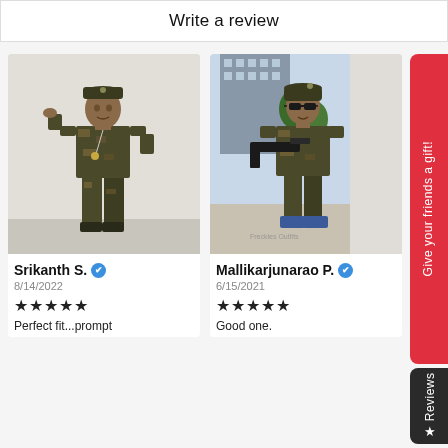Write a review
[Figure (photo): Child dressed in military/army camouflage costume saluting against a white wall]
Srikanth S. ✔
8/14/2022
★★★★★
Perfect fit...prompt
[Figure (photo): Child dressed in military/army camouflage costume with sunglasses and toy gun, outdoors near building]
Mallikarjunarao P. ✔
6/15/2021
★★★★★
Good one.